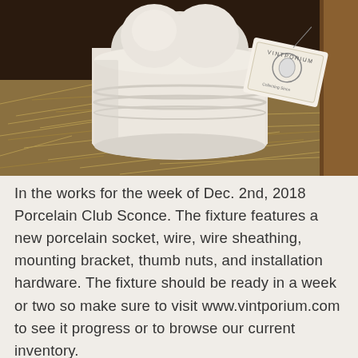[Figure (photo): A white porcelain club sconce socket resting on straw/excelsior packing material in a dark wooden crate. A Vintporium branded tag is visible in the upper right of the image.]
In the works for the week of Dec. 2nd, 2018 Porcelain Club Sconce. The fixture features a new porcelain socket, wire, wire sheathing, mounting bracket, thumb nuts, and installation hardware. The fixture should be ready in a week or two so make sure to visit www.vintporium.com to see it progress or to browse our current inventory.